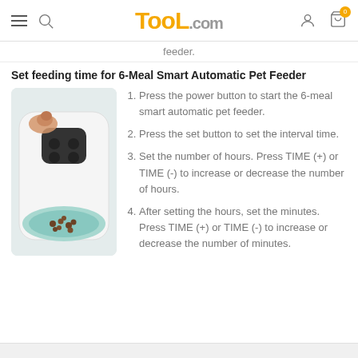TooL.com
feeder.
Set feeding time for 6-Meal Smart Automatic Pet Feeder
[Figure (photo): Photo of a white and teal automatic pet feeder with kibble inside the bowl tray, and a hand pressing a button on top.]
Press the power button to start the 6-meal smart automatic pet feeder.
Press the set button to set the interval time.
Set the number of hours. Press TIME (+) or TIME (-) to increase or decrease the number of hours.
After setting the hours, set the minutes. Press TIME (+) or TIME (-) to increase or decrease the number of minutes.